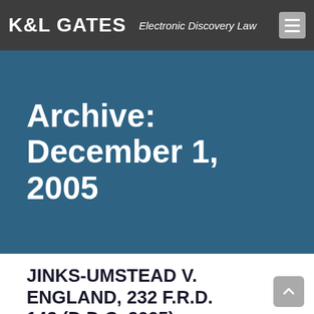K&L GATES  Electronic Discovery Law
Archive: December 1, 2005
JINKS-UMSTEAD V. ENGLAND, 232 F.R.D. 142 (D.D.C. 2005)